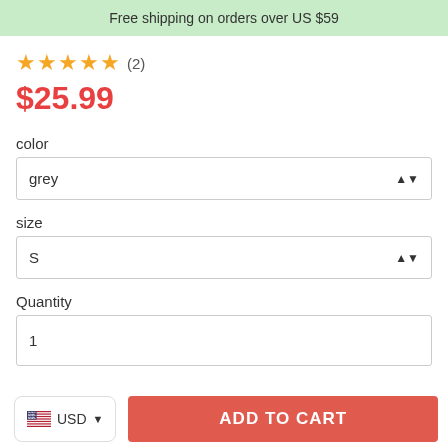Free shipping on orders over US $59
★★★★★ (2)
$25.99
color
grey
size
S
Quantity
1
USD
ADD TO CART